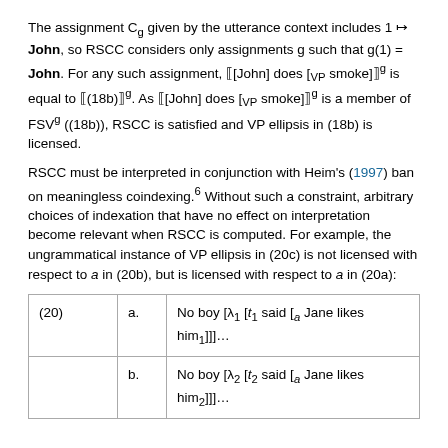The assignment C_g given by the utterance context includes 1 ↦ John, so RSCC considers only assignments g such that g(1) = John. For any such assignment, [[John] does [VP smoke]]^g is equal to [[(18b)]]^g. As [[John] does [VP smoke]]^g is a member of FSV^g ((18b)), RSCC is satisfied and VP ellipsis in (18b) is licensed.
RSCC must be interpreted in conjunction with Heim's (1997) ban on meaningless coindexing.[6] Without such a constraint, arbitrary choices of indexation that have no effect on interpretation become relevant when RSCC is computed. For example, the ungrammatical instance of VP ellipsis in (20c) is not licensed with respect to a in (20b), but is licensed with respect to a in (20a):
| (20) | a. | No boy [λ₁ [t₁ said [ₐ Jane likes him₁]]]... |
|  | b. | No boy [λ₂ [t₂ said [ₐ Jane likes him₂]]]... |